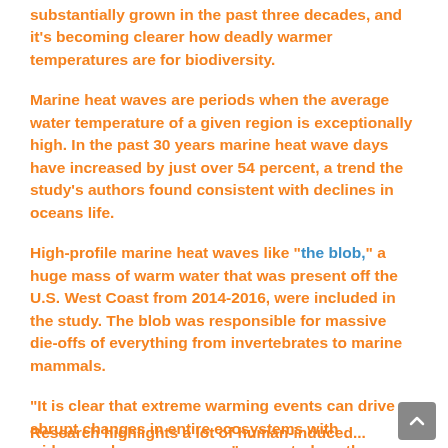substantially grown in the past three decades, and it's becoming clearer how deadly warmer temperatures are for biodiversity.
Marine heat waves are periods when the average water temperature of a given region is exceptionally high. In the past 30 years marine heat wave days have increased by just over 54 percent, a trend the study's authors found consistent with declines in oceans life.
High-profile marine heat waves like “the blob,” a huge mass of warm water that was present off the U.S. West Coast from 2014-2016, were included in the study. The blob was responsible for massive die-offs of everything from invertebrates to marine mammals.
“It is clear that extreme warming events can drive abrupt changes in entire ecosystems with widespread consequences,” says study author ecologist Daniel Smale.
Research highlights a lot of human-induced...